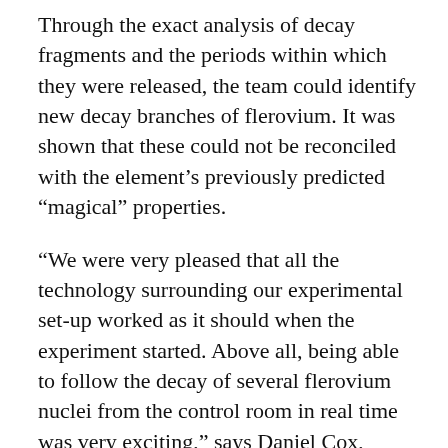Through the exact analysis of decay fragments and the periods within which they were released, the team could identify new decay branches of flerovium. It was shown that these could not be reconciled with the element's previously predicted “magical” properties.
“We were very pleased that all the technology surrounding our experimental set-up worked as it should when the experiment started. Above all, being able to follow the decay of several flerovium nuclei from the control room in real time was very exciting,” says Daniel Cox, postdoc in nuclear physics at Lund University.
The new results, published in the research journal Physical Review Letters, will be of considerable use to science. Instead of looking for the island of